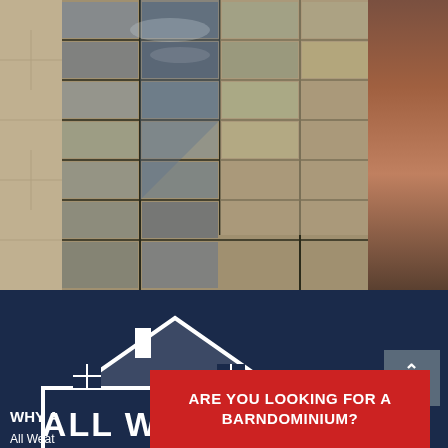[Figure (photo): Top portion: photograph of a modern glass office building corner facade, showing reflective windows and stone/concrete cladding. Right edge shows a partial warm-toned darker photo.]
[Figure (logo): All Weather Renovations logo: white house/roof silhouette with two windows, rectangular border, bold white text 'ALL WEATHER RENOVATIONS', three circular icons at the bottom (snowflake, dots, yin-yang-like symbol), set on a dark navy background.]
[Figure (infographic): Red popup banner with white bold text: 'ARE YOU LOOKING FOR A BARNDOMINIUM?']
WHY A
All Weat